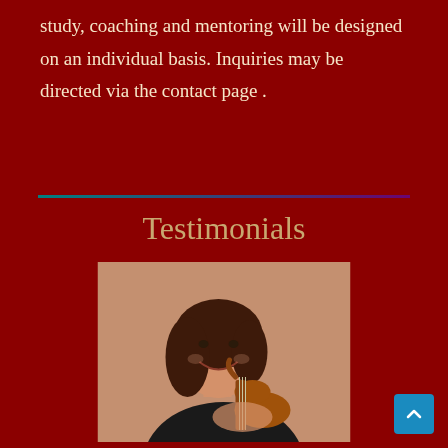study, coaching and mentoring will be designed on an individual basis. Inquiries may be directed via the contact page .
Testimonials
[Figure (photo): Woman with brown hair smiling and holding a violin, wearing a black outfit, against a salmon/pink background]